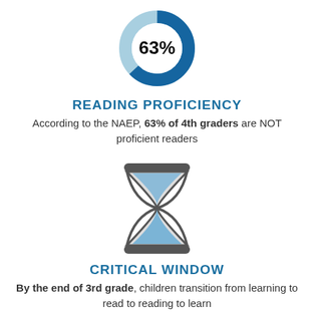[Figure (donut-chart): 63% of 4th graders not proficient readers]
READING PROFICIENCY
According to the NAEP, 63% of 4th graders are NOT proficient readers
[Figure (illustration): Hourglass icon with blue sand]
CRITICAL WINDOW
By the end of 3rd grade, children transition from learning to read to reading to learn